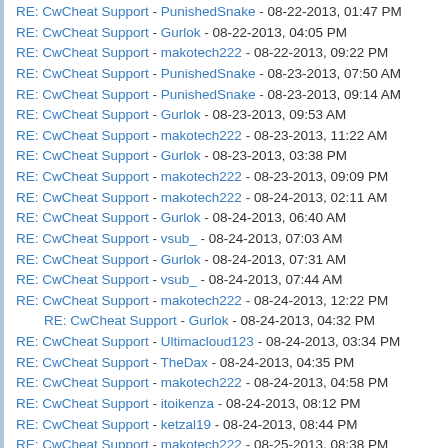RE: CwCheat Support - PunishedSnake - 08-22-2013, 01:47 PM
RE: CwCheat Support - Gurlok - 08-22-2013, 04:05 PM
RE: CwCheat Support - makotech222 - 08-22-2013, 09:22 PM
RE: CwCheat Support - PunishedSnake - 08-23-2013, 07:50 AM
RE: CwCheat Support - PunishedSnake - 08-23-2013, 09:14 AM
RE: CwCheat Support - Gurlok - 08-23-2013, 09:53 AM
RE: CwCheat Support - makotech222 - 08-23-2013, 11:22 AM
RE: CwCheat Support - Gurlok - 08-23-2013, 03:38 PM
RE: CwCheat Support - makotech222 - 08-23-2013, 09:09 PM
RE: CwCheat Support - makotech222 - 08-24-2013, 02:11 AM
RE: CwCheat Support - Gurlok - 08-24-2013, 06:40 AM
RE: CwCheat Support - vsub_ - 08-24-2013, 07:03 AM
RE: CwCheat Support - Gurlok - 08-24-2013, 07:31 AM
RE: CwCheat Support - vsub_ - 08-24-2013, 07:44 AM
RE: CwCheat Support - makotech222 - 08-24-2013, 12:22 PM
RE: CwCheat Support - Gurlok - 08-24-2013, 04:32 PM (indented)
RE: CwCheat Support - Ultimacloud123 - 08-24-2013, 03:34 PM
RE: CwCheat Support - TheDax - 08-24-2013, 04:35 PM
RE: CwCheat Support - makotech222 - 08-24-2013, 04:58 PM
RE: CwCheat Support - itoikenza - 08-24-2013, 08:12 PM
RE: CwCheat Support - ketzal19 - 08-24-2013, 08:44 PM
RE: CwCheat Support - makotech222 - 08-25-2013, 08:38 PM
RE: CwCheat Support - netraiderx - 08-25-2013, 08:45 PM
RE: CwCheat Support - makotech222 - 08-25-2013, 09:14 PM